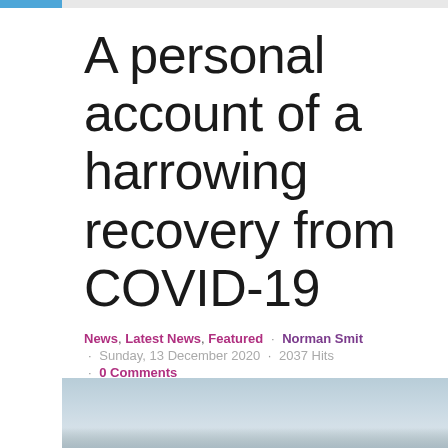A personal account of a harrowing recovery from COVID-19
News, Latest News, Featured · Norman Smit · Sunday, 13 December 2020 · 2037 Hits · 0 Comments
[Figure (photo): Sky with clouds, light blue-grey tones]